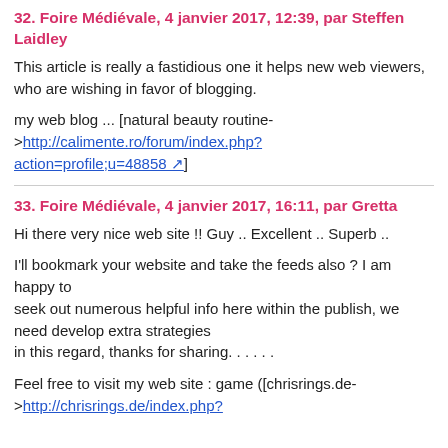32. Foire Médiévale, 4 janvier 2017, 12:39, par Steffen Laidley
This article is really a fastidious one it helps new web viewers, who are wishing in favor of blogging.
my web blog ... [natural beauty routine->http://calimente.ro/forum/index.php?action=profile;u=48858 ↗]
33. Foire Médiévale, 4 janvier 2017, 16:11, par Gretta
Hi there very nice web site !! Guy .. Excellent .. Superb ..
I'll bookmark your website and take the feeds also ? I am happy to seek out numerous helpful info here within the publish, we need develop extra strategies in this regard, thanks for sharing. . . . . .
Feel free to visit my web site : game ([chrisrings.de->http://chrisrings.de/index.php?...])